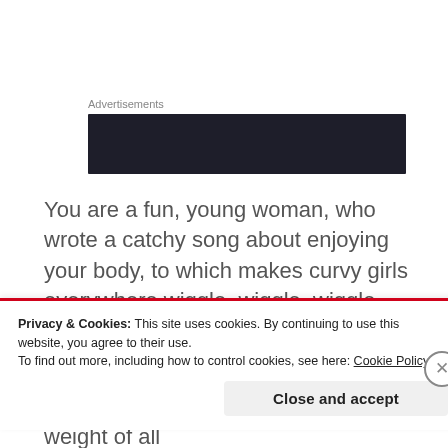Advertisements
[Figure (other): Dark advertisement banner block]
You are a fun, young woman, who wrote a catchy song about enjoying your body, to which makes curvy girls everywhere wiggle, wiggle, wiggle, and that's okay.
Your shoulders don't need to carry the weight of all
Privacy & Cookies: This site uses cookies. By continuing to use this website, you agree to their use.
To find out more, including how to control cookies, see here: Cookie Policy
Close and accept